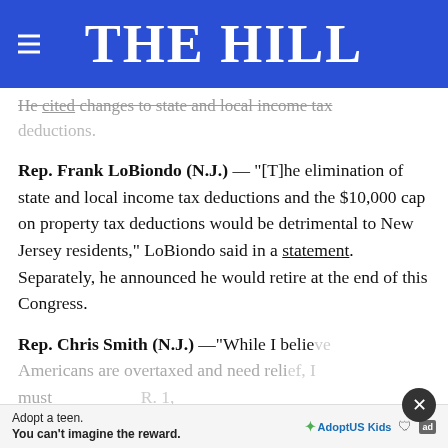THE HILL
He cited changes to state and local income tax deductions.
Rep. Frank LoBiondo (N.J.) — "[T]he elimination of state and local income tax deductions and the $10,000 cap on property tax deductions would be detrimental to New Jersey residents," LoBiondo said in a statement. Separately, he announced he would retire at the end of this Congress.
Rep. Chris Smith (N.J.) —"While I believe Americans are overtaxed and need relief, I must ... because of its negative impact on New Jersey